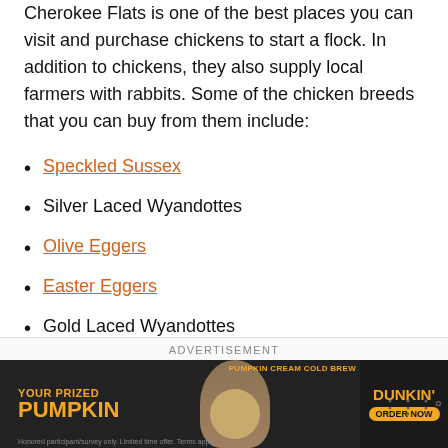Cherokee Flats is one of the best places you can visit and purchase chickens to start a flock. In addition to chickens, they also supply local farmers with rabbits. Some of the chicken breeds that you can buy from them include:
Speckled Sussex
Silver Laced Wyandottes
Olive Eggers
Easter Eggers
Gold Laced Wyandottes
ADVERTISEMENT
[Figure (photo): Dunkin' Pumpkin Cream Cold Brew advertisement banner with orange 'YOUR PRIZED PUMPKIN' text and drink image]